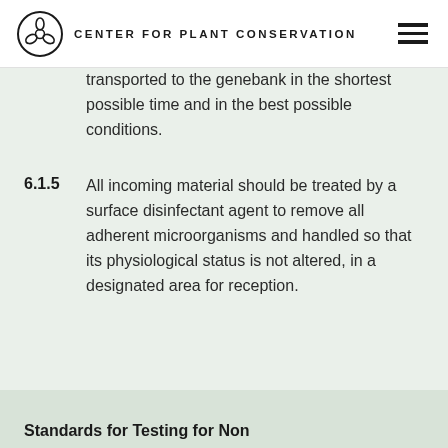CENTER FOR PLANT CONSERVATION
transported to the genebank in the shortest possible time and in the best possible conditions.
6.1.5  All incoming material should be treated by a surface disinfectant agent to remove all adherent microorganisms and handled so that its physiological status is not altered, in a designated area for reception.
Standards for Testing for Non